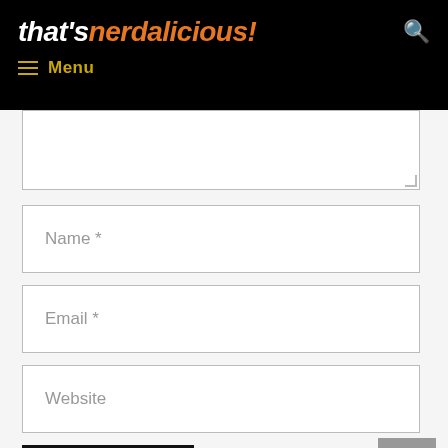that's nerdalicious!
Menu
Name *
Email *
Website
Post Comment